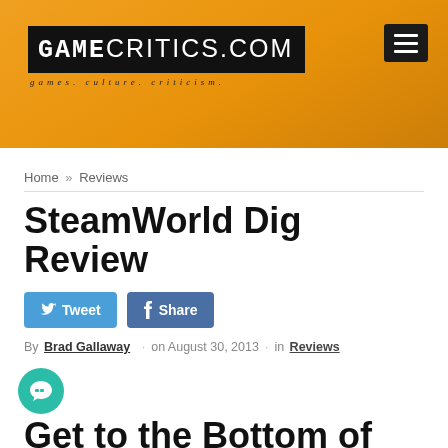GAMECRITICS.COM — games. culture. criticism.
Home » Reviews
SteamWorld Dig Review
Tweet  Share
By Brad Gallaway · on August 30, 2013 · in Reviews
Get to the Bottom of This